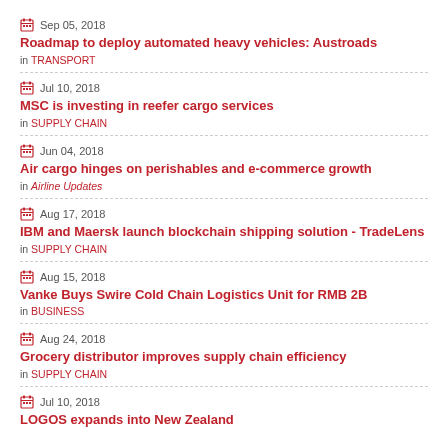Sep 05, 2018 | Roadmap to deploy automated heavy vehicles: Austroads | in TRANSPORT
Jul 10, 2018 | MSC is investing in reefer cargo services | in SUPPLY CHAIN
Jun 04, 2018 | Air cargo hinges on perishables and e-commerce growth | in Airline Updates
Aug 17, 2018 | IBM and Maersk launch blockchain shipping solution - TradeLens | in SUPPLY CHAIN
Aug 15, 2018 | Vanke Buys Swire Cold Chain Logistics Unit for RMB 2B | in BUSINESS
Aug 24, 2018 | Grocery distributor improves supply chain efficiency | in SUPPLY CHAIN
Jul 10, 2018 | LOGOS expands into New Zealand